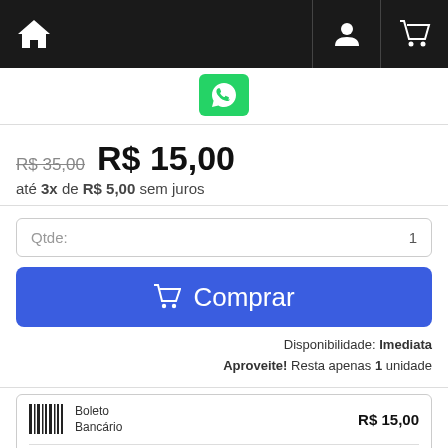Navigation bar with home icon, user icon, and cart icon
[Figure (other): WhatsApp contact button (green)]
R$ 35,00  R$ 15,00
até 3x de R$ 5,00 sem juros
Qtde: 1
Comprar
Disponibilidade: Imediata
Aproveite! Resta apenas 1 unidade
Boleto Bancário  R$ 15,00
VISA  Mastercard  Diners Club  Amex  Hipercard  Elo  (other)  Parcelas